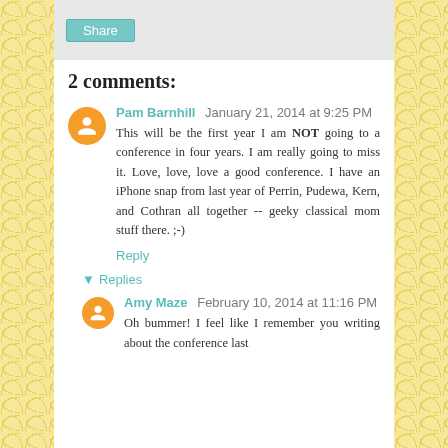Share
2 comments:
Pam Barnhill  January 21, 2014 at 9:25 PM
This will be the first year I am NOT going to a conference in four years. I am really going to miss it. Love, love, love a good conference. I have an iPhone snap from last year of Perrin, Pudewa, Kern, and Cothran all together -- geeky classical mom stuff there. ;-)
Reply
Replies
Amy Maze  February 10, 2014 at 11:16 PM
Oh bummer! I feel like I remember you writing about the conference last